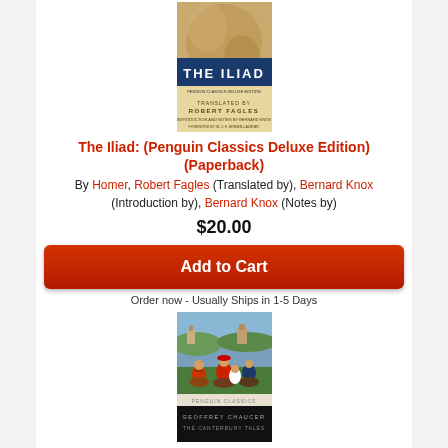[Figure (photo): Book cover of The Iliad, Penguin Classics Deluxe Edition, translated by Robert Fagles]
The Iliad: (Penguin Classics Deluxe Edition) (Paperback)
By Homer, Robert Fagles (Translated by), Bernard Knox (Introduction by), Bernard Knox (Notes by)
$20.00
Add to Cart
Order now - Usually Ships in 1-5 Days
[Figure (photo): Book cover of The Canterbury Tales, Penguin Classics, by Geoffrey Chaucer]
The Canterbury Tales (Paperback)
By Geoffrey Chaucer, Nevill Coghill (Translated by), Nevill